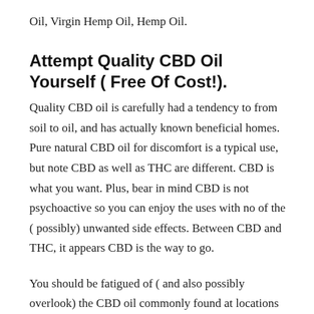Oil, Virgin Hemp Oil, Hemp Oil.
Attempt Quality CBD Oil Yourself ( Free Of Cost!).
Quality CBD oil is carefully had a tendency to from soil to oil, and has actually known beneficial homes. Pure natural CBD oil for discomfort is a typical use, but note CBD as well as THC are different. CBD is what you want. Plus, bear in mind CBD is not psychoactive so you can enjoy the uses with no of the ( possibly) unwanted side effects. Between CBD and THC, it appears CBD is the way to go.
You should be fatigued of ( and also possibly overlook) the CBD oil commonly found at locations like Walmart. Those are low quality & you won't get the complete